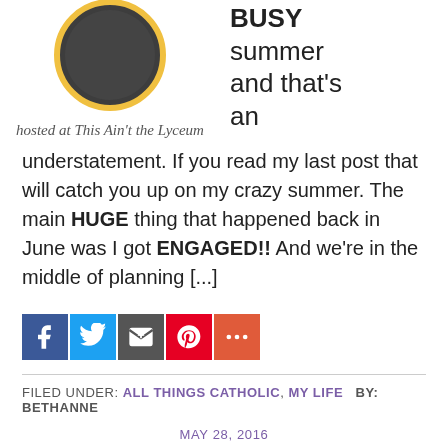[Figure (logo): Circular logo with dark gray and yellow border, with cursive text 'hosted at This Ain't the Lyceum' below]
BUSY summer and that's an understatement. If you read my last post that will catch you up on my crazy summer. The main HUGE thing that happened back in June was I got ENGAGED!! And we're in the middle of planning [...]
[Figure (infographic): Social sharing icons: Facebook (blue), Twitter (light blue), Email (gray), Pinterest (red), More (orange-red)]
FILED UNDER: ALL THINGS CATHOLIC, MY LIFE   BY: BETHANNE
MAY 28, 2016